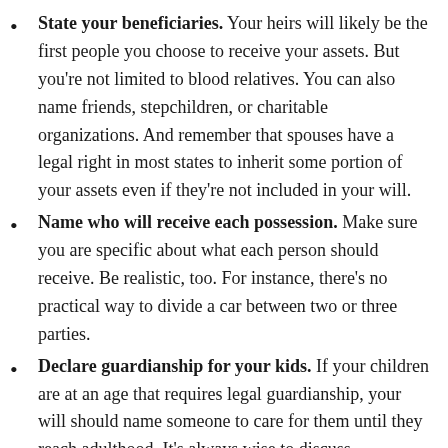State your beneficiaries. Your heirs will likely be the first people you choose to receive your assets. But you're not limited to blood relatives. You can also name friends, stepchildren, or charitable organizations. And remember that spouses have a legal right in most states to inherit some portion of your assets even if they're not included in your will.
Name who will receive each possession. Make sure you are specific about what each person should receive. Be realistic, too. For instance, there's no practical way to divide a car between two or three parties.
Declare guardianship for your kids. If your children are at an age that requires legal guardianship, your will should name someone to care for them until they reach adulthood. It's always wise to discuss